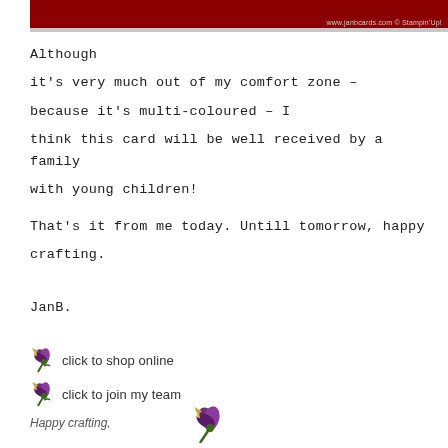[Figure (other): Dark red banner header with website URL text: www.janbcards.com © Stampin'Up!]
Although it's very much out of my comfort zone – because it's multi-coloured – I think this card will be well received by a family with young children!
That's it from me today. Untill tomorrow, happy crafting.
JanB.
click to shop online
click to join my team
Happy crafting,